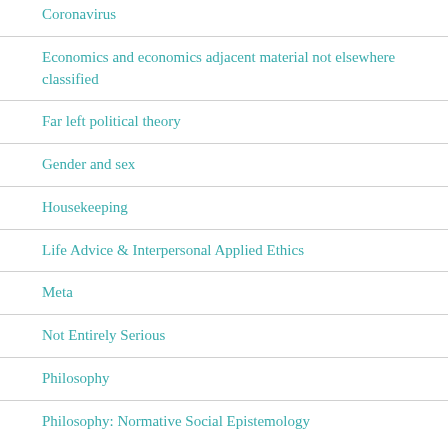Coronavirus
Economics and economics adjacent material not elsewhere classified
Far left political theory
Gender and sex
Housekeeping
Life Advice & Interpersonal Applied Ethics
Meta
Not Entirely Serious
Philosophy
Philosophy: Normative Social Epistemology